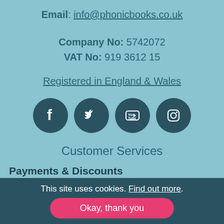Email: info@phonicbooks.co.uk
Company No: 5742072
VAT No: 919 3612 15
Registered in England & Wales
[Figure (infographic): Four social media icon circles: Facebook, Twitter, YouTube, Instagram]
Customer Services
Payments & Discounts
This site uses cookies. Find out more.
Okay, thank you